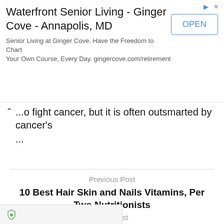[Figure (other): Advertisement banner for Waterfront Senior Living - Ginger Cove - Annapolis, MD with an OPEN button]
...to fight cancer, but it is often outsmarted by cancer's
...
Previous Post
10 Best Hair Skin and Nails Vitamins, Per Two Nutritionists
Next Post
B&G Foods creates 4 business units to oversee sprawling portfolio
[Figure (other): Shield/privacy icon in footer bar]